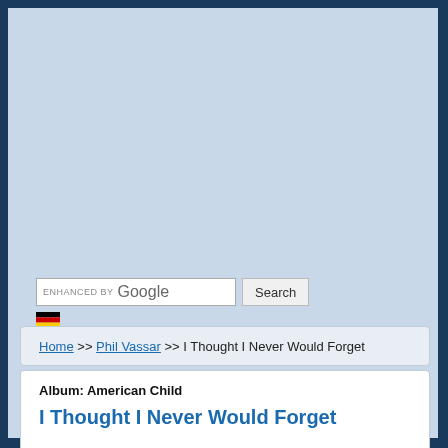[Figure (other): Google enhanced search bar with Search button and German flag icon]
Home >> Phil Vassar >> I Thought I Never Would Forget
Album: American Child
I Thought I Never Would Forget